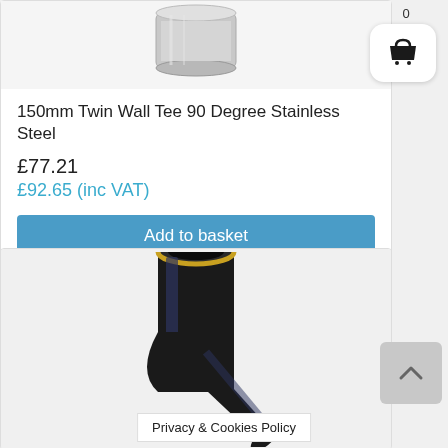[Figure (photo): Stainless steel 150mm twin wall tee 90 degree fitting, cylindrical metallic component photographed on white background]
150mm Twin Wall Tee 90 Degree Stainless Steel
£77.21
£92.65 (inc VAT)
Add to basket
[Figure (photo): Black coated 150mm twin wall tee pipe fitting, matte black finish with gold/brass coloured rim at the top opening, T-shaped pipe junction component]
Privacy & Cookies Policy